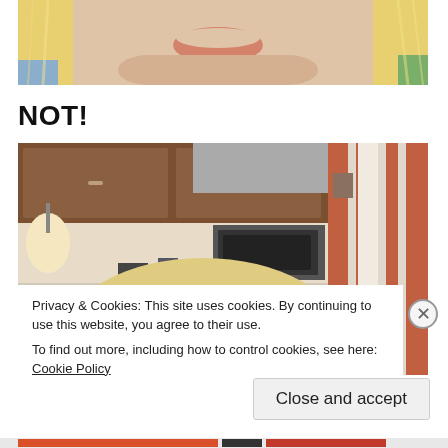[Figure (photo): Close-up photo of a smiling child with blonde hair, cropped to show the lower face and hair]
NOT!
[Figure (photo): Photo of a child with blonde hair bending over in a kitchen setting, with wooden cabinets and appliances visible in the background]
Privacy & Cookies: This site uses cookies. By continuing to use this website, you agree to their use.
To find out more, including how to control cookies, see here: Cookie Policy
Close and accept